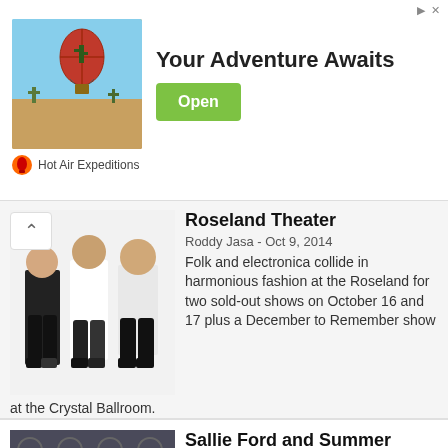[Figure (photo): Advertisement banner: hot air balloon photo with 'Your Adventure Awaits' headline, Open button, and Hot Air Expeditions brand]
Roseland Theater
Roddy Jasa - Oct 9, 2014
Folk and electronica collide in harmonious fashion at the Roseland for two sold-out shows on October 16 and 17 plus a December to Remember show at the Crystal Ballroom.
[Figure (photo): Band photo showing people in black and white clothing against a white background]
Sallie Ford and Summer Cannibals at the Doug Fir Lounge
Roddy Jasa - Oct 7, 2014
Portland's favorite female rocker is set to kick off her fall tour and celebrate the release of her new album with her new band—in the same venue where she left off with the old one—on October 10.
[Figure (photo): Photo of Sallie Ford and Summer Cannibals band members against a patterned wallpaper background]